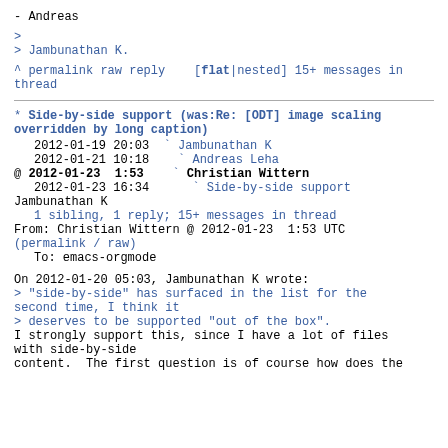- Andreas
>
> Jambunathan K.
^ permalink raw reply    [flat|nested] 15+ messages in thread
* Side-by-side support (was:Re: [ODT] image scaling overridden by long caption)
  2012-01-19 20:03  ` Jambunathan K
  2012-01-21 10:18    ` Andreas Leha
@ 2012-01-23  1:53    ` Christian Wittern
  2012-01-23 16:34      ` Side-by-side support Jambunathan K
  1 sibling, 1 reply; 15+ messages in thread
From: Christian Wittern @ 2012-01-23  1:53 UTC
(permalink / raw)
   To: emacs-orgmode
On 2012-01-20 05:03, Jambunathan K wrote:
> "side-by-side" has surfaced in the list for the second time, I think it
> deserves to be supported "out of the box".
I strongly support this, since I have a lot of files with side-by-side
content.  The first question is of course how does the